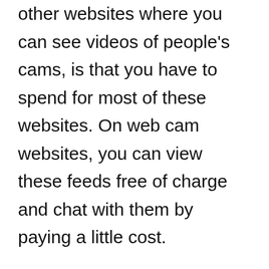other websites where you can see videos of people's cams, is that you have to spend for most of these websites. On web cam websites, you can view these feeds free of charge and chat with them by paying a little cost.
What is a live webcam website? A live web cam website is generally any website that has video feeds of individuals's webcams on it. Unlike other sites where you can watch videos of people's web cameras, these websites have a lot of people